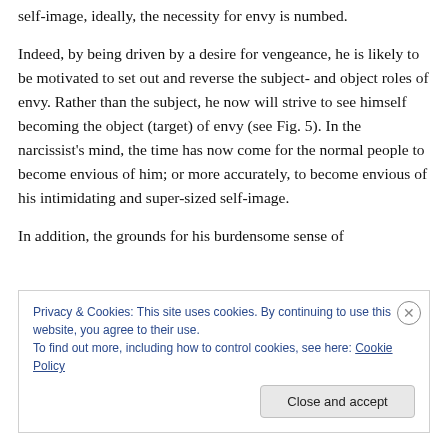self-image, ideally, the necessity for envy is numbed.
Indeed, by being driven by a desire for vengeance, he is likely to be motivated to set out and reverse the subject- and object roles of envy. Rather than the subject, he now will strive to see himself becoming the object (target) of envy (see Fig. 5). In the narcissist's mind, the time has now come for the normal people to become envious of him; or more accurately, to become envious of his intimidating and super-sized self-image.
In addition, the grounds for his burdensome sense of
Privacy & Cookies: This site uses cookies. By continuing to use this website, you agree to their use.
To find out more, including how to control cookies, see here: Cookie Policy
Close and accept